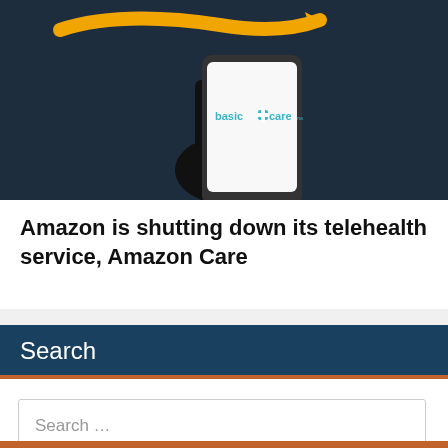[Figure (photo): Dark background image showing Amazon logo (orange arrow/smile) and a hand holding a smartphone displaying 'basic care' logo on its screen.]
Amazon is shutting down its telehealth service, Amazon Care
Search
Search ...